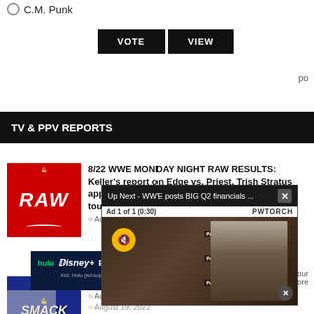C.M. Punk
VOTE   VIEW
po
TV & PPV REPORTS
[Figure (logo): WWE RAW red logo]
8/22 WWE MONDAY NIGHT RAW RESULTS: Keller's report on Edge vs. Priest, Trish Stratus appears, Sky & Kai vs. Asuka & Bliss in tournament semi-finals
August 22
[Figure (screenshot): Video overlay: Up Next - WWE posts BIG Q2 financials ... with Ad 1 of 1 (0:30), PWTORCH branding, muted speaker icon, person on camera]
[Figure (logo): WWE SmackDown blue logo]
8/19 WWE ... report on ... five-way to... vs. Shotzi
August 20
[Figure (screenshot): Disney Bundle advertisement: hulu Disney+ ESPN+ GET THE DISNEY BUNDLE. Incl. Hulu (ad-supported) or Hulu (No Ads). Access content from each service separately. ©2021 Disney and its related entities]
is in our more
August 19, 2022